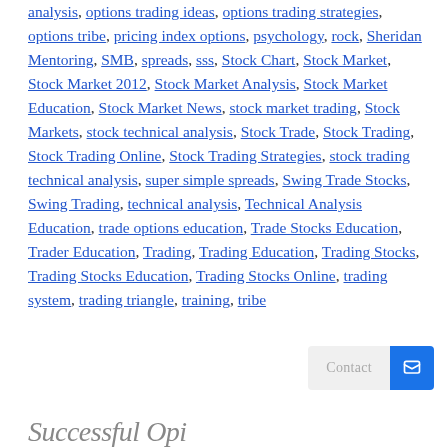analysis, options trading ideas, options trading strategies, options tribe, pricing index options, psychology, rock, Sheridan Mentoring, SMB, spreads, sss, Stock Chart, Stock Market, Stock Market 2012, Stock Market Analysis, Stock Market Education, Stock Market News, stock market trading, Stock Markets, stock technical analysis, Stock Trade, Stock Trading, Stock Trading Online, Stock Trading Strategies, stock trading technical analysis, super simple spreads, Swing Trade Stocks, Swing Trading, technical analysis, Technical Analysis Education, trade options education, Trade Stocks Education, Trader Education, Trading, Trading Education, Trading Stocks, Trading Stocks Education, Trading Stocks Online, trading system, trading triangle, training, tribe
[Figure (screenshot): Contact widget with input field labeled 'Contact' and a blue button with a chat icon]
Successful Opi...